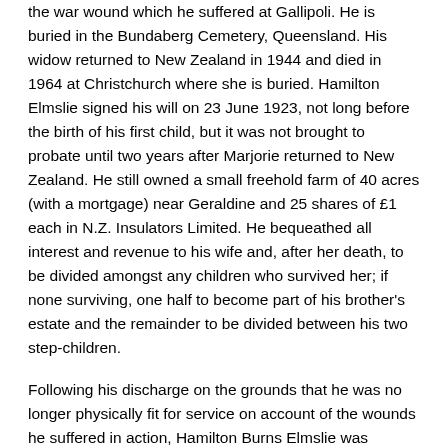the war wound which he suffered at Gallipoli. He is buried in the Bundaberg Cemetery, Queensland. His widow returned to New Zealand in 1944 and died in 1964 at Christchurch where she is buried. Hamilton Elmslie signed his will on 23 June 1923, not long before the birth of his first child, but it was not brought to probate until two years after Marjorie returned to New Zealand. He still owned a small freehold farm of 40 acres (with a mortgage) near Geraldine and 25 shares of £1 each in N.Z. Insulators Limited. He bequeathed all interest and revenue to his wife and, after her death, to be divided amongst any children who survived her; if none surviving, one half to become part of his brother's estate and the remainder to be divided between his two step-children.
Following his discharge on the grounds that he was no longer physically fit for service on account of the wounds he suffered in action, Hamilton Burns Elmslie was awarded the 1914-1915 Star, the British War Medal and the Victory Medal. His name was recorded on an earlier Timaru Borough Roll of Honour (of men who fell and men who served).
Sources
Auckland War Memorial Museum Cenotaph Database [18 June